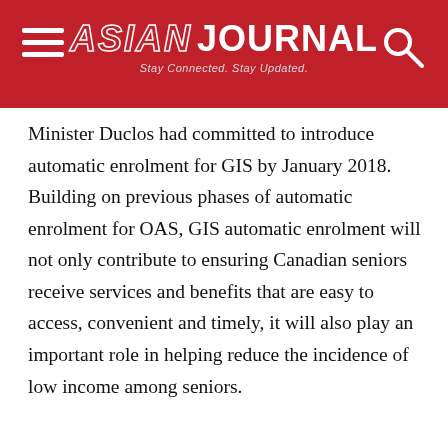ASIAN JOURNAL — Stay Connected. Stay Updated.
Minister Duclos had committed to introduce automatic enrolment for GIS by January 2018. Building on previous phases of automatic enrolment for OAS, GIS automatic enrolment will not only contribute to ensuring Canadian seniors receive services and benefits that are easy to access, convenient and timely, it will also play an important role in helping reduce the incidence of low income among seniors.
“Automatic enrolment reduces the burden on many seniors by enabling them to receive their Old Age Security pension and Guaranteed Income Supplement at age 65 without ever having to apply for it. We continue our efforts to modernize the Old Age Security and Guaranteed Income Supplement services to meet the needs of Canadians,” said The